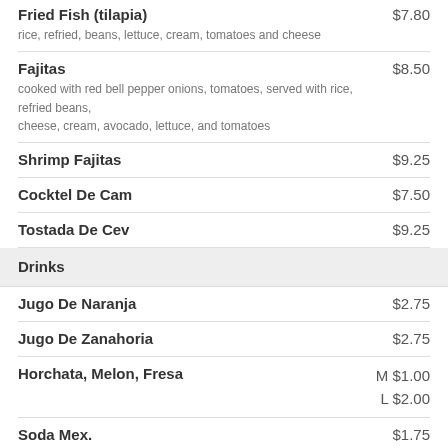Fried Fish (tilapia) $7.80 — rice, refried, beans, lettuce, cream, tomatoes and cheese
Fajitas $8.50 — cooked with red bell pepper onions, tomatoes, served with rice, refried beans, cheese, cream, avocado, lettuce, and tomatoes
Shrimp Fajitas $9.25
Cocktel De Cam $7.50
Tostada De Cev $9.25
Drinks
Jugo De Naranja $2.75
Jugo De Zanahoria $2.75
Horchata, Melon, Fresa M $1.00 L $2.00
Soda Mex. $1.75
Reg. Soda $1.00
Cerveza Domestica $2.35
Cerveza Mexicana $2.75